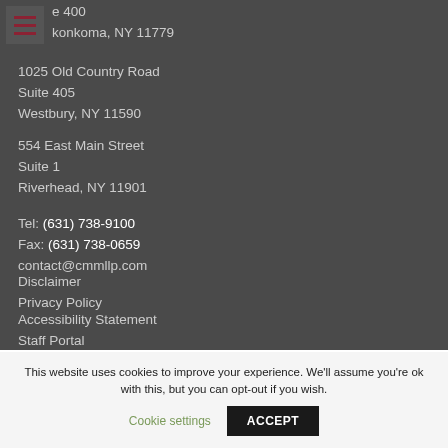e 400
könkoma, NY 11779
1025 Old Country Road
Suite 405
Westbury, NY 11590
554 East Main Street
Suite 1
Riverhead, NY 11901
Tel: (631) 738-9100
Fax: (631) 738-0659
contact@cmmllp.com
Disclaimer
Privacy Policy
Accessibility Statement
Staff Portal
Connect
NEWSLETTER
This website uses cookies to improve your experience. We'll assume you're ok with this, but you can opt-out if you wish.
Cookie settings
ACCEPT